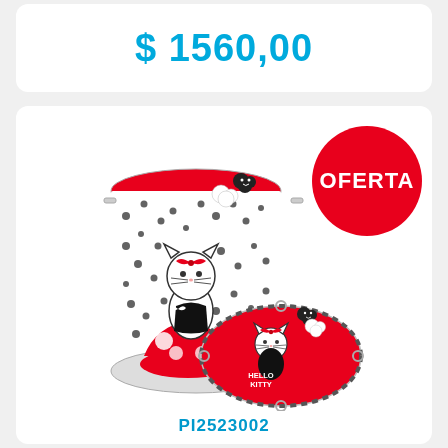$ 1560,00
[Figure (photo): Hello Kitty themed cylindrical fabric laundry basket with red and white polka dot design, shown both upright and collapsed flat. Features Hello Kitty character sitting on a red mushroom with polka dots, clouds, and red bow. The collapsed version shows the red interior with Hello Kitty text and character. Red circular 'OFERTA' badge overlaid on top right.]
PI2523002